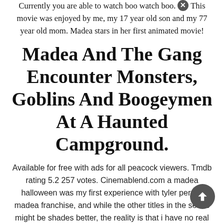Currently you are able to watch boo watch boo. This movie was enjoyed by me, my 17 year old son and my 77 year old mom. Madea stars in her first animated movie!
Madea And The Gang Encounter Monsters, Goblins And Boogeymen At A Haunted Campground.
Available for free with ads for all peacock viewers. Tmdb rating 5.2 257 votes. Cinemablend.com a madea halloween was my first experience with tyler perry's madea franchise, and while the other titles in the series might be shades better, the reality is that i have no real desire to find out.
See also  Watch Anime Online Kissanime